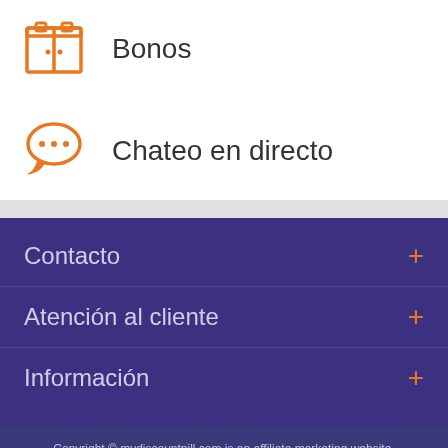[Figure (illustration): Orange gift/box icon above Bonos label]
Bonos
[Figure (illustration): Orange speech bubble with three dots icon for Chateo en directo]
Chateo en directo
Contacto +
Atención al cliente +
Información +
Copyright © mydiscountpill.com is an affiliate marketing website. Todos los derechos reservados.